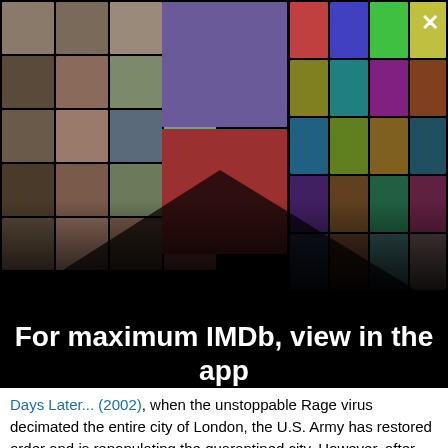[Figure (photo): IMDb app promotional collage showing a mosaic of celebrity photos and movie/TV show posters arranged in a 3D perspective grid on a black background. An X close button is in the top right corner.]
For maximum IMDb, view in the app
Get the app
Days Later... (2002), when the unstoppable Rage virus decimated the entire city of London, the U.S. Army has restored order and is repopulating the quarantined city. However, after the first wave of returning refugees, an